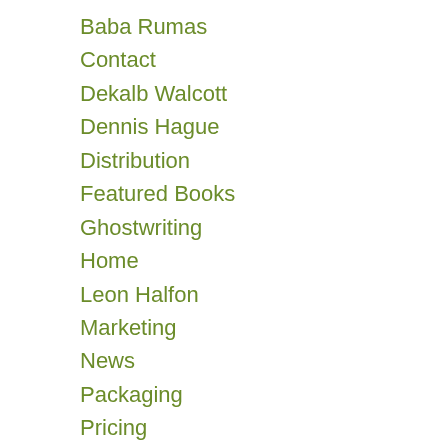Baba Rumas
Contact
Dekalb Walcott
Dennis Hague
Distribution
Featured Books
Ghostwriting
Home
Leon Halfon
Marketing
News
Packaging
Pricing
QP Books
The Director
The Founder
Video